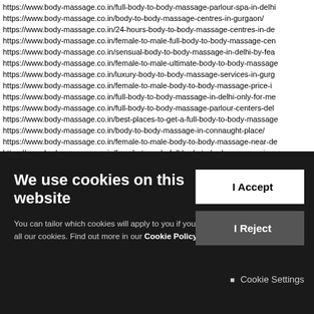https://www.body-massage.co.in/full-body-to-body-massage-parlour-spa-in-delhi
https://www.body-massage.co.in/body-to-body-massage-centres-in-gurgaon/
https://www.body-massage.co.in/24-hours-body-to-body-massage-centres-in-delhi
https://www.body-massage.co.in/female-to-male-full-body-to-body-massage-centres
https://www.body-massage.co.in/sensual-body-to-body-massage-in-delhi-by-female
https://www.body-massage.co.in/female-to-male-ultimate-body-to-body-massage
https://www.body-massage.co.in/luxury-body-to-body-massage-services-in-gurgaon
https://www.body-massage.co.in/female-to-male-body-to-body-massage-price-in
https://www.body-massage.co.in/full-body-to-body-massage-in-delhi-only-for-men
https://www.body-massage.co.in/full-body-to-body-massage-parlour-centers-delhi
https://www.body-massage.co.in/best-places-to-get-a-full-body-to-body-massage
https://www.body-massage.co.in/body-to-body-massage-in-connaught-place/
https://www.body-massage.co.in/female-to-male-body-to-body-massage-near-delhi
https://www.body-massage.co.in/female-to-male-full-body-to-body-massage-in-g
https://www.body-massage.co.in/full-body-to-body-massage-in-kalkaji-delhi/
https://www.body-massage.co.in/nuru-body-to-body-massage-in-mahipalpur-delhi
https://www.body-massage.co.in/nuru-body-to-body-massage-parlour-in-gurgaon
We use cookies on this website
You can tailor which cookies will apply to you if you prefer not to allow all our cookies. Find out more in our Cookie Policy.